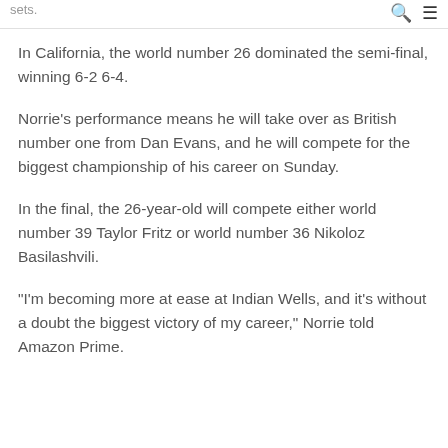sets.
In California, the world number 26 dominated the semi-final, winning 6-2 6-4.
Norrie's performance means he will take over as British number one from Dan Evans, and he will compete for the biggest championship of his career on Sunday.
In the final, the 26-year-old will compete either world number 39 Taylor Fritz or world number 36 Nikoloz Basilashvili.
"I'm becoming more at ease at Indian Wells, and it's without a doubt the biggest victory of my career," Norrie told Amazon Prime.